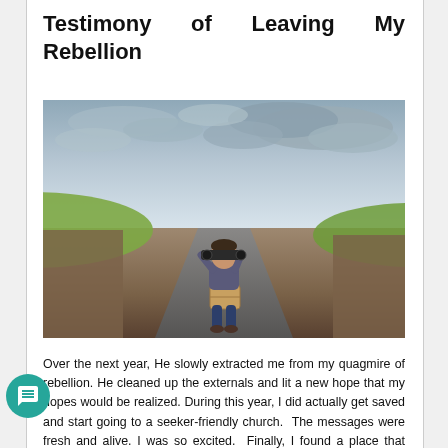Testimony of Leaving My Rebellion
[Figure (photo): A man sitting on a box in the middle of a road at a crossroads, shading his eyes with his hand and looking into the distance. Dramatic cloudy sky above, green hills on either side of the road.]
Over the next year, He slowly extracted me from my quagmire of rebellion. He cleaned up the externals and lit a new hope that my hopes would be realized. During this year, I did actually get saved and start going to a seeker-friendly church. The messages were fresh and alive. I was so excited. Finally, I found a place that spoke about relationship with God. But after a few years, the queue of entertaining messages started to wear